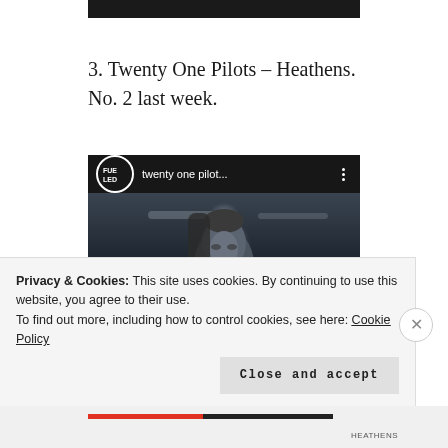[Figure (screenshot): Top portion of a dark image/video thumbnail bar at top of page]
3. Twenty One Pilots – Heathens.
No. 2 last week.
[Figure (screenshot): YouTube video thumbnail for Twenty One Pilots - Heathens. Shows the Fueled By Ramen channel logo (circular with FUELED LED text), channel name 'twenty one pilot...', three-dot menu icon, and a dark cinematic close-up of a man's face.]
Privacy & Cookies: This site uses cookies. By continuing to use this website, you agree to their use.
To find out more, including how to control cookies, see here: Cookie Policy
Close and accept